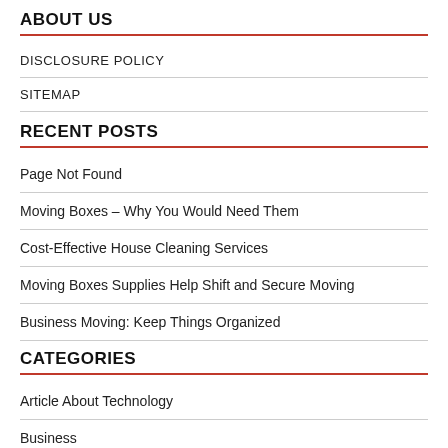ABOUT US
DISCLOSURE POLICY
SITEMAP
RECENT POSTS
Page Not Found
Moving Boxes – Why You Would Need Them
Cost-Effective House Cleaning Services
Moving Boxes Supplies Help Shift and Secure Moving
Business Moving: Keep Things Organized
CATEGORIES
Article About Technology
Business